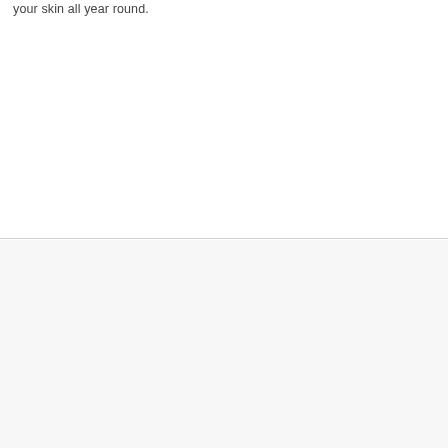your skin all year round.
We use cookies to ensure that we give you the best experience on our website. If you continue to use this site we will assume that you are happy with it. read more »
Accept